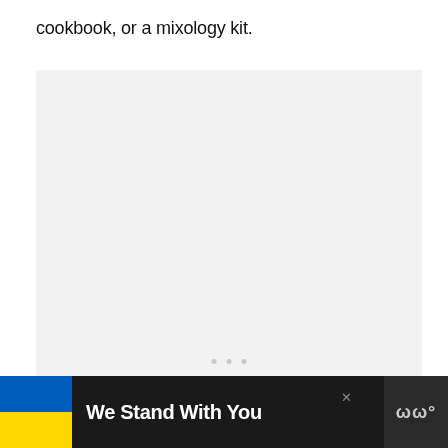cookbook, or a mixology kit.
[Figure (other): Large light gray placeholder content box with three small gray dots centered near the middle-bottom area, indicating loading or empty content state. A pink/purple circular heart button and a white circular share button appear on the right side.]
We Stand With You